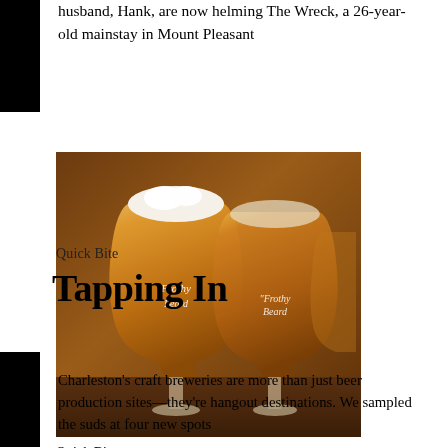husband, Hank, are now helming The Wreck, a 26-year-old mainstay in Mount Pleasant
[Figure (photo): Two Frothy Beard branded beer glasses filled with amber beer, photographed on a wooden surface]
Quick Bite
Tapping In
Charleston's craft breweries are more than just beer production sites—they're hangout destinations. We sampled the suds at four new spots